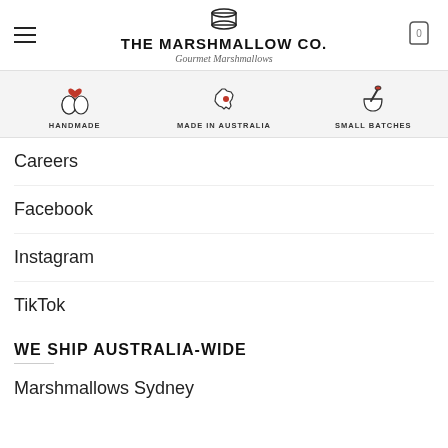THE MARSHMALLOW CO. Gourmet Marshmallows
[Figure (infographic): Three icons with labels: HANDMADE (hands with heart), MADE IN AUSTRALIA (Australia map), SMALL BATCHES (mortar and pestle)]
Careers
Facebook
Instagram
TikTok
WE SHIP AUSTRALIA-WIDE
Marshmallows Sydney